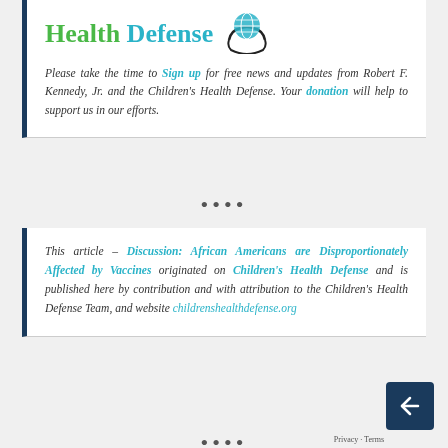[Figure (logo): Children's Health Defense logo with green 'Health' and teal 'Defense' text and hands/globe icon]
Please take the time to Sign up for free news and updates from Robert F. Kennedy, Jr. and the Children's Health Defense. Your donation will help to support us in our efforts.
This article – Discussion: African Americans are Disproportionately Affected by Vaccines originated on Children's Health Defense and is published here by contribution and with attribution to the Children's Health Defense Team, and website childrenshealthdefense.org